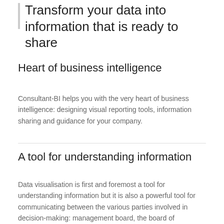Transform your data into information that is ready to share
Heart of business intelligence
Consultant-BI helps you with the very heart of business intelligence: designing visual reporting tools, information sharing and guidance for your company.
A tool for understanding information
Data visualisation is first and foremost a tool for understanding information but it is also a powerful tool for communicating between the various parties involved in decision-making: management board, the board of directors… You don't need to be a specialist to understand a visual representation of data.